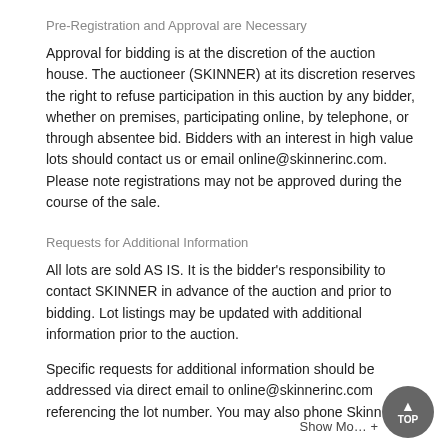Pre-Registration and Approval are Necessary
Approval for bidding is at the discretion of the auction house. The auctioneer (SKINNER) at its discretion reserves the right to refuse participation in this auction by any bidder, whether on premises, participating online, by telephone, or through absentee bid. Bidders with an interest in high value lots should contact us or email online@skinnerinc.com. Please note registrations may not be approved during the course of the sale.
Requests for Additional Information
All lots are sold AS IS. It is the bidder's responsibility to contact SKINNER in advance of the auction and prior to bidding. Lot listings may be updated with additional information prior to the auction.
Specific requests for additional information should be addressed via direct email to online@skinnerinc.com referencing the lot number. You may also phone Skinn… 500-070-0000…